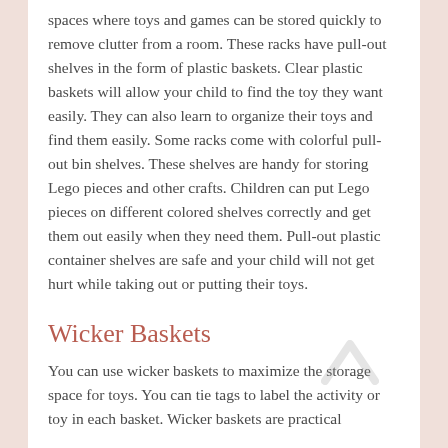spaces where toys and games can be stored quickly to remove clutter from a room. These racks have pull-out shelves in the form of plastic baskets. Clear plastic baskets will allow your child to find the toy they want easily. They can also learn to organize their toys and find them easily. Some racks come with colorful pull-out bin shelves. These shelves are handy for storing Lego pieces and other crafts. Children can put Lego pieces on different colored shelves correctly and get them out easily when they need them. Pull-out plastic container shelves are safe and your child will not get hurt while taking out or putting their toys.
Wicker Baskets
You can use wicker baskets to maximize the storage space for toys. You can tie tags to label the activity or toy in each basket. Wicker baskets are practical